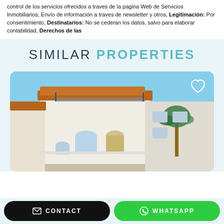control de los servicios ofrecidos a traves de la pagina Web de Servicios Inmobiliarios, Envío de información a traves de newsletter y otros, Legitimación: Por consentimiento, Destinatarios: No se cederan los datos, salvo para elaborar contabilidad, Derechos de las
SIMILAR PROPERTIES
[Figure (photo): Photo of a white Spanish-style townhouse with terracotta tile roofing, balconies with black iron railings, arched doorways, and a palm tree, under a clear blue sky. A heart/favorite icon is shown in the top right corner of the image.]